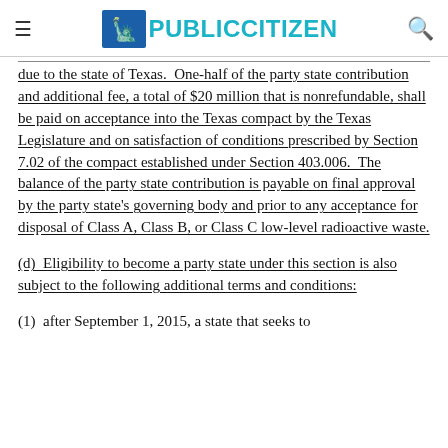PUBLICCITIZEN
due to the state of Texas.  One-half of the party state contribution and additional fee, a total of $20 million that is nonrefundable, shall be paid on acceptance into the Texas compact by the Texas Legislature and on satisfaction of conditions prescribed by Section 7.02 of the compact established under Section 403.006.  The balance of the party state contribution is payable on final approval by the party state's governing body and prior to any acceptance for disposal of Class A, Class B, or Class C low-level radioactive waste.
(d)  Eligibility to become a party state under this section is also subject to the following additional terms and conditions:
(1)  after September 1, 2015, a state that seeks to